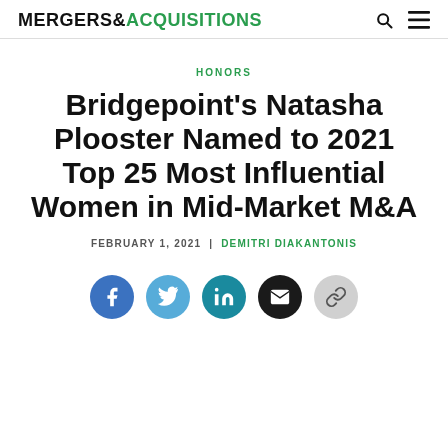MERGERS & ACQUISITIONS
HONORS
Bridgepoint's Natasha Plooster Named to 2021 Top 25 Most Influential Women in Mid-Market M&A
FEBRUARY 1, 2021 | DEMITRI DIAKANTONIS
[Figure (other): Social sharing icons: Facebook, Twitter, LinkedIn, Email, Link]